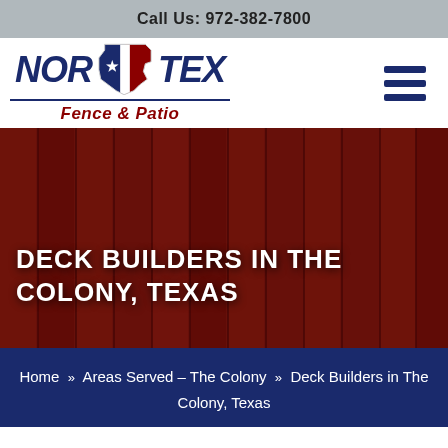Call Us: 972-382-7800
[Figure (logo): NOR TEX Fence & Patio logo with Texas state shape icon in red, white, and blue colors]
[Figure (illustration): Hamburger/menu icon with three horizontal dark blue bars]
[Figure (photo): Hero banner photo of wooden fence boards with dark red overlay, containing text DECK BUILDERS IN THE COLONY, TEXAS]
DECK BUILDERS IN THE COLONY, TEXAS
Home » Areas Served – The Colony » Deck Builders in The Colony, Texas